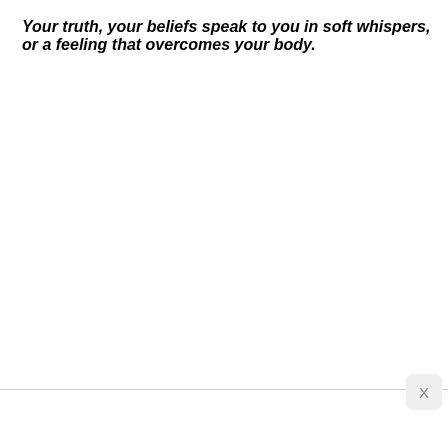Your truth, your beliefs speak to you in soft whispers, or a feeling that overcomes your body.